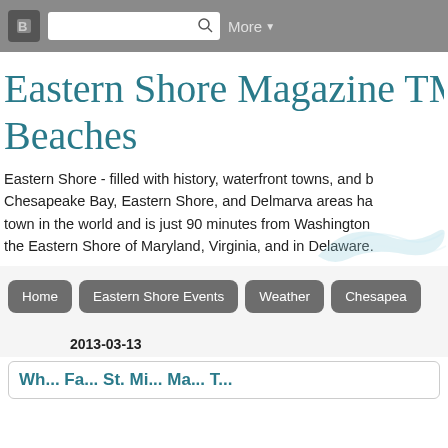Blogger navigation bar with search box and More button
Eastern Shore Magazine TM - Chesapeake B... Beaches
Eastern Shore - filled with history, waterfront towns, and b... Chesapeake Bay, Eastern Shore, and Delmarva areas ha... town in the world and is just 90 minutes from Washington ... the Eastern Shore of Maryland, Virginia, and in Delaware.
Home | Eastern Shore Events | Weather | Chesapea...
2013-03-13
Wh... Fa... St. Mi... Ma... T...